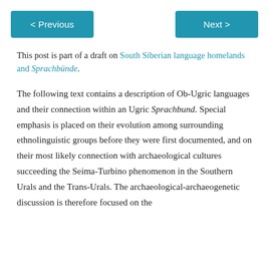< Previous   Next >
This post is part of a draft on South Siberian language homelands and Sprachbünde.
The following text contains a description of Ob-Ugric languages and their connection within an Ugric Sprachbund. Special emphasis is placed on their evolution among surrounding ethnolinguistic groups before they were first documented, and on their most likely connection with archaeological cultures succeeding the Seima-Turbino phenomenon in the Southern Urals and the Trans-Urals. The archaeological-archaeogenetic discussion is therefore focused on the